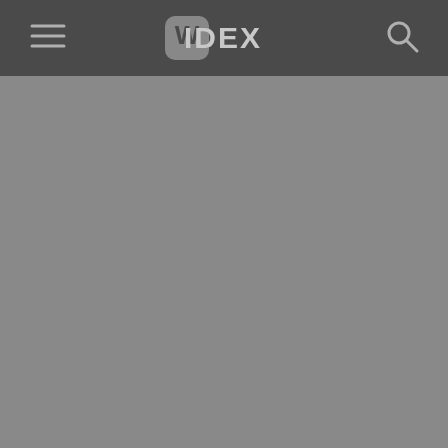[Figure (logo): Widex logo centered in dark gray navigation bar, with hamburger menu icon on left and search icon on right]
[Figure (other): Large gray background area below the navigation bar, no visible content]